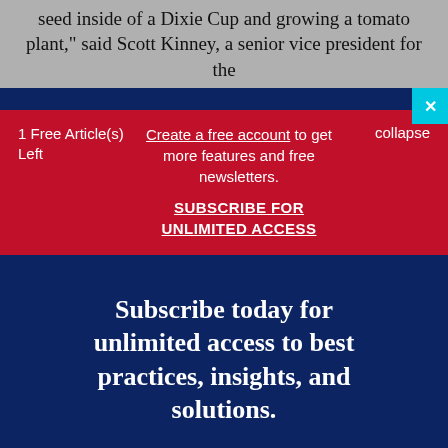seed inside of a Dixie Cup and growing a tomato plant," said Scott Kinney, a senior vice president for the
1 Free Article(s) Left
Create a free account to get more features and free newsletters.
SUBSCRIBE FOR UNLIMITED ACCESS
collapse
Subscribe today for unlimited access to best practices, insights, and solutions.
SUBSCRIBE